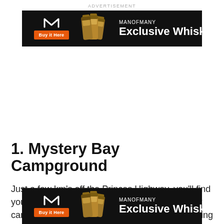ADVERTISEMENT
[Figure (illustration): Man of Many advertisement banner (black background) with logo, 'Buy it Here' orange button, whiskey bottles image, 'MANOFMANY' text and 'Exclusive Whiskey' headline]
1. Mystery Bay Campground
Just a few km's off the Princes Highway, you'll find yourself in NSW's most picturesque dog-friendly campi… nning
[Figure (illustration): Man of Many advertisement banner (black background) with logo, 'Buy it Here' orange button, whiskey bottles image, 'MANOFMANY' text and 'Exclusive Whiskey' headline — bottom of page overlay]